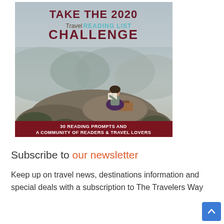[Figure (illustration): Book cover: 'Take the 2020 Travel Reading List Challenge' with a woman sitting on a rock reading a book with misty mountain landscape background. Bottom red bar reads '30 Reading Prompts and a Community of Readers & Travel Lovers'.]
Subscribe to our newsletter
Keep up on travel news, destinations information and special deals with a subscription to The Travelers Way